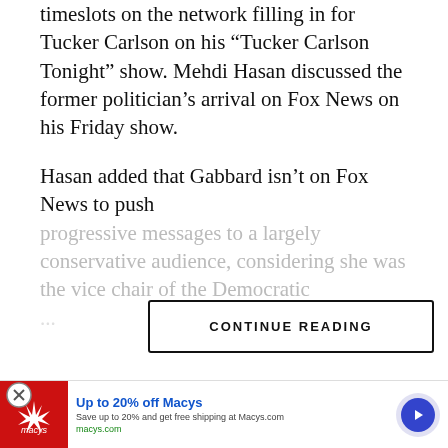timeslots on the network filling in for Tucker Carlson on his “Tucker Carlson Tonight” show. Mehdi Hasan discussed the former politician’s arrival on Fox News on his Friday show.
Hasan added that Gabbard isn’t on Fox News to push progressive messages to a largely conservative audience, considering she was the vice chair of the Democratic...
CONTINUE READING
[Figure (screenshot): Podcast advertisement for Seller2Seller with Jeff Gaven, Episode Seven featuring Reza Hariri, and a photo of a man]
UPDATE YOUR THINKING to Staff
[Figure (screenshot): Macy's advertisement: Up to 20% off Macys. Save up to 20% and get free shipping at Macys.com. macys.com]